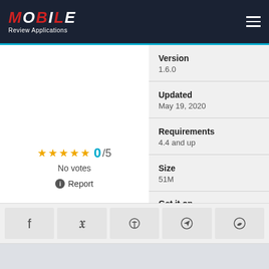MOBILE Review Applications
Version
1.6.0
Updated
May 19, 2020
Requirements
4.4 and up
Size
51M
0/5 stars — No votes
Report
Get it on
Google Play